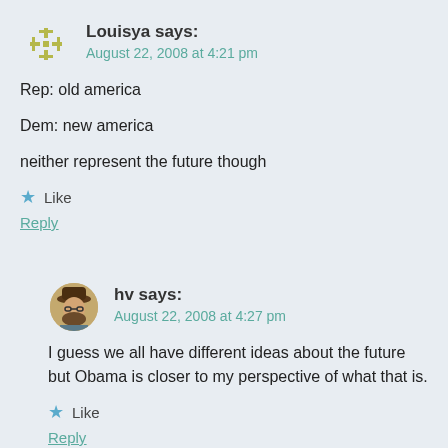Louisya says:
August 22, 2008 at 4:21 pm
Rep: old america

Dem: new america

neither represent the future though
Like
Reply
hv says:
August 22, 2008 at 4:27 pm
I guess we all have different ideas about the future but Obama is closer to my perspective of what that is.
Like
Reply